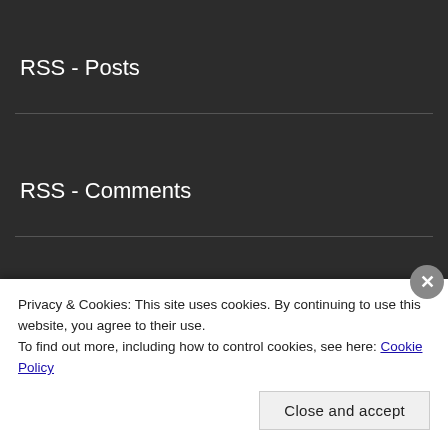RSS - Posts
RSS - Comments
FLAG COUNTER
Visitors
Privacy & Cookies: This site uses cookies. By continuing to use this website, you agree to their use.
To find out more, including how to control cookies, see here: Cookie Policy
Close and accept